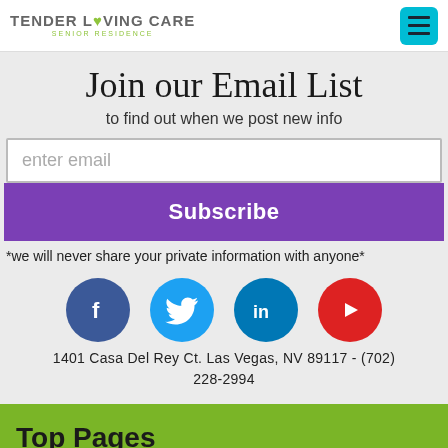TENDER LOVING CARE SENIOR RESIDENCE
Join our Email List
to find out when we post new info
enter email
Subscribe
*we will never share your private information with anyone*
[Figure (infographic): Four social media icons in a row: Facebook (blue circle with f), Twitter (light blue circle with bird), LinkedIn (dark blue circle with in), YouTube (red circle with play button)]
1401 Casa Del Rey Ct. Las Vegas, NV 89117 - (702) 228-2994
Top Pages
Alzheimers Care